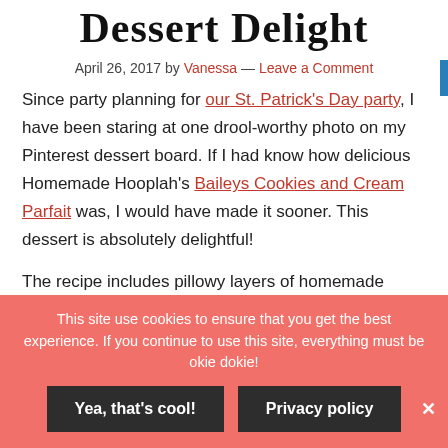Dessert Delight
April 26, 2017 by Vanessa — Leave a Comment
Since party planning for our St. Patrick's Day party, I have been staring at one drool-worthy photo on my Pinterest dessert board. If I had know how delicious Homemade Hooplah's Baileys Cookies and Cream Parfait was, I would have made it sooner. This dessert is absolutely delightful!
The recipe includes pillowy layers of homemade Baileys whipped cream nestled between Oreo cookie crumbs and
This site use cookies to ensure that you get the best experience. If you continue to use this site, everything must be okie dokie!